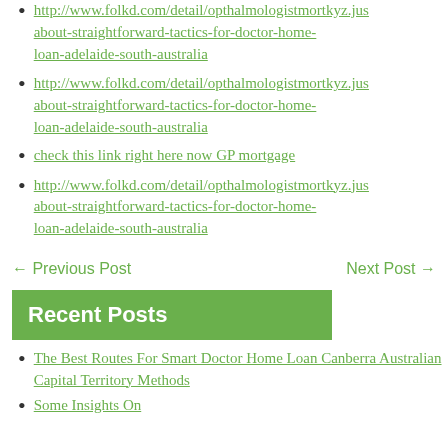http://www.folkd.com/detail/opthalmologistmortkyz.jus about-straightforward-tactics-for-doctor-home-loan-adelaide-south-australia
check this link right here now GP mortgage
http://www.folkd.com/detail/opthalmologistmortkyz.jus about-straightforward-tactics-for-doctor-home-loan-adelaide-south-australia
← Previous Post    Next Post →
Recent Posts
The Best Routes For Smart Doctor Home Loan Canberra Australian Capital Territory Methods
Some Insights On